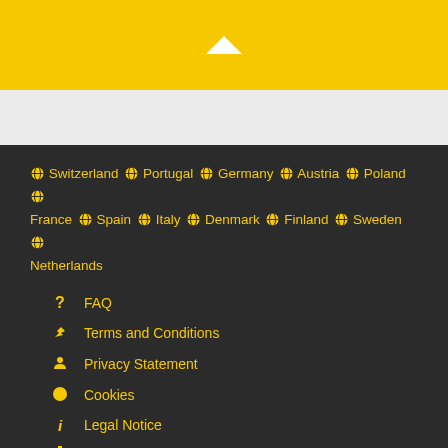[Figure (other): Yellow banner with white upward chevron arrow]
Switzerland  Portugal  Germany  Austria  Poland  France  Spain  Italy  Denmark  Finland  Sweden  Netherlands
FAQ
Terms and Conditions
Privacy Statement
Cookies
Legal Notice
Sitemap
© 2020 englishjobs.be
Twitter
Facebook